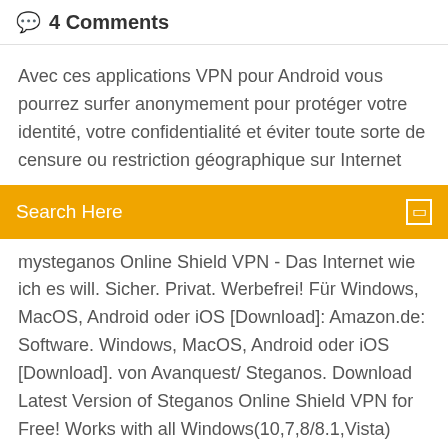4 Comments
Avec ces applications VPN pour Android vous pourrez surfer anonymement pour protéger votre identité, votre confidentialité et éviter toute sorte de censure ou restriction géographique sur Internet
Search Here
mysteganos Online Shield VPN - Das Internet wie ich es will. Sicher. Privat. Werbefrei! Für Windows, MacOS, Android oder iOS [Download]: Amazon.de: Software. Windows, MacOS, Android oder iOS [Download]. von Avanquest/ Steganos. Download Latest Version of Steganos Online Shield VPN for Free! Works with all Windows(10,7,8/8.1,Vista) versions. 1. Aug. 2017 Der Steganos Online Shield VPN Download stellt euch eine verschlüsselte VPN- Verbindung zur Verfügung, mit der ihr euch sicher und anonym Download Hotspot Shield Free VPN Proxy - Unlimited VPN for Firefox. Claim your online freedom today with